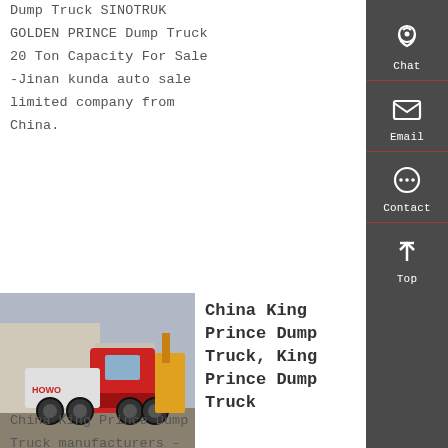Dump Truck SINOTRUK GOLDEN PRINCE Dump Truck 20 Ton Capacity For Sale -Jinan kunda auto sale limited company from China.
[Figure (other): Orange 'Get a Quote' button]
[Figure (photo): Photo of a red and white HOWO dump truck/tractor unit parked in a yard]
China King Prince Dump Truck, King Prince Dump Truck
China King Prince Dump Truck manufacturers -